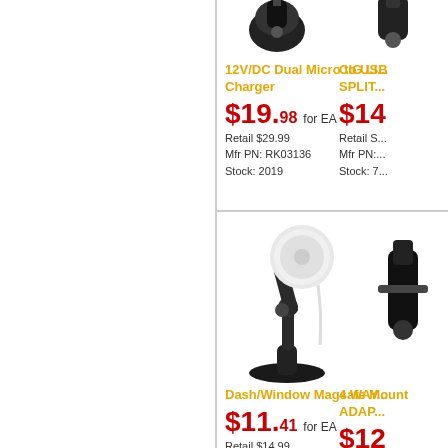[Figure (photo): 12V/DC Dual Micro to USB Charger product photo (partially visible at top)]
12V/DC Dual Micro to USB Charger
$19.98 for EA
Retail $29.99
Mfr PN: RK03136
Stock: 2019
[Figure (photo): CIG Lighter Splitter product photo (partially visible, right column)]
CIG LI... SPLIT...
$14... Retail S...
Mfr PN:...
Stock: 7...
[Figure (photo): Dash/Window Magsafe Mount product photo showing black suction cup mount with magnetic wireless charging pad]
Dash/Window Magsafe Mount
$11.41 for EA
Retail $14.99
Mfr PN: MMWD
Stock: 595
[Figure (photo): 4 Way Adapter product photo (partially visible, right column)]
4 WAY... ADAP...
$12...
Retail S...
Mfr PN:...